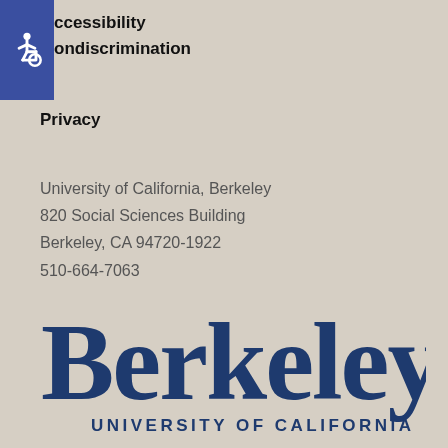[Figure (logo): Blue accessibility wheelchair icon on dark blue square background]
Accessibility
Nondiscrimination
Privacy
University of California, Berkeley
820 Social Sciences Building
Berkeley, CA 94720-1922
510-664-7063
[Figure (logo): Berkeley University of California logo in dark navy blue serif font]